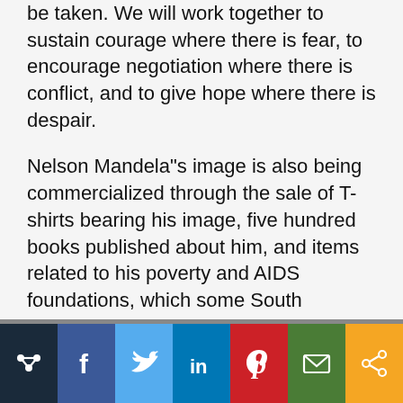be taken. We will work together to sustain courage where there is fear, to encourage negotiation where there is conflict, and to give hope where there is despair.
Nelson Mandela"s image is also being commercialized through the sale of T-shirts bearing his image, five hundred books published about him, and items related to his poverty and AIDS foundations, which some South Africans see as excessive consumerism or Che Guevara-like iconization. Mandela asked that his face be removed from all products sold by his foundation.
[Figure (infographic): Social media sharing bar with icons: share (people/network), Facebook, Twitter, LinkedIn, Pinterest, Email, and a generic share icon.]